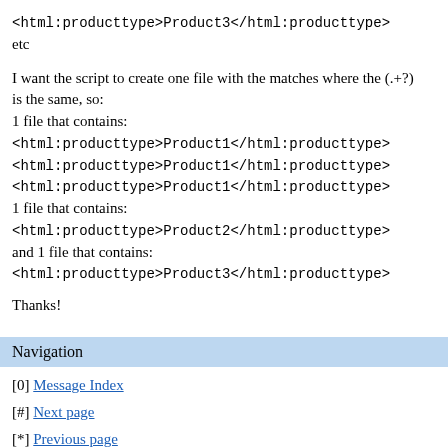<html:producttype>Product3</html:producttype>
etc
I want the script to create one file with the matches where the (.+?) is the same, so:
1 file that contains:
<html:producttype>Product1</html:producttype>
<html:producttype>Product1</html:producttype>
<html:producttype>Product1</html:producttype>
1 file that contains:
<html:producttype>Product2</html:producttype>
and 1 file that contains:
<html:producttype>Product3</html:producttype>
Thanks!
Navigation
[0] Message Index
[#] Next page
[*] Previous page
Go to full version